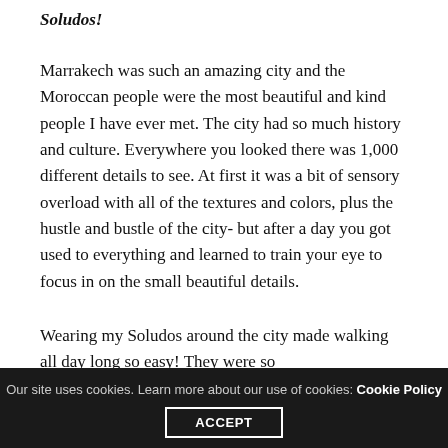Soludos!
Marrakech was such an amazing city and the Moroccan people were the most beautiful and kind people I have ever met. The city had so much history and culture. Everywhere you looked there was 1,000 different details to see. At first it was a bit of sensory overload with all of the textures and colors, plus the hustle and bustle of the city- but after a day you got used to everything and learned to train your eye to focus in on the small beautiful details.
Wearing my Soludos around the city made walking all day long so easy! They were so
Our site uses cookies. Learn more about our use of cookies: Cookie Policy ACCEPT